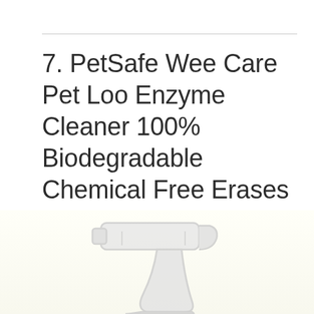7. PetSafe Wee Care Pet Loo Enzyme Cleaner 100% Biodegradable Chemical Free Erases Stains and Odors, PAC00-14492, 16-Ounce,Clear
[Figure (illustration): Faint light gray illustration of a spray bottle trigger/nozzle mechanism, partially visible at the bottom of the page against a very light yellowish-white background.]